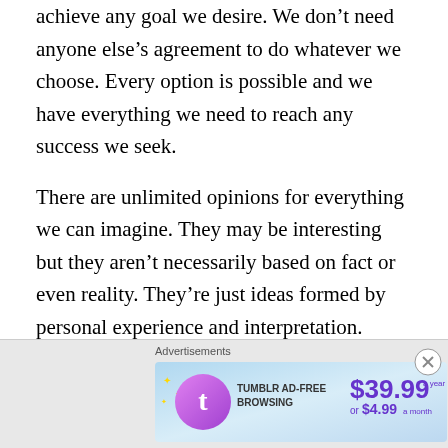achieve any goal we desire. We don't need anyone else's agreement to do whatever we choose. Every option is possible and we have everything we need to reach any success we seek.
There are unlimited opinions for everything we can imagine. They may be interesting but they aren't necessarily based on fact or even reality. They're just ideas formed by personal experience and interpretation. Everyone is entitled to their own perceptions but we don't have to share them. There will always be lots of different possibilities and roads to travel, and we can choose our own. We can make any decisions we want, and live our
Advertisements
[Figure (illustration): Tumblr Ad-Free Browsing advertisement banner. Shows Tumblr logo, text 'TUMBLR AD-FREE BROWSING', price $39.99 a year or $4.99 a month, on a blue gradient background.]